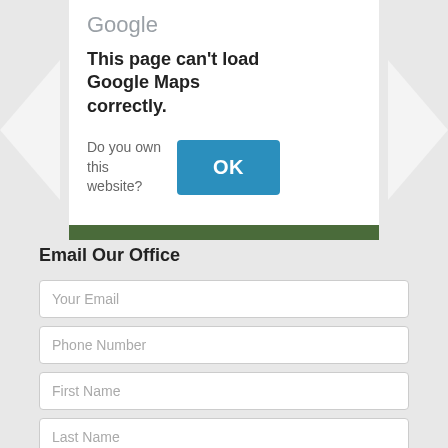[Figure (screenshot): Google Maps error dialog over a map background showing 'This page can't load Google Maps correctly' with an OK button and 'Do you own this website?' text]
Email Our Office
[Figure (screenshot): Web form with fields: Your Email, Phone Number, First Name, Last Name, Subject, and a Get a Free Quote button]